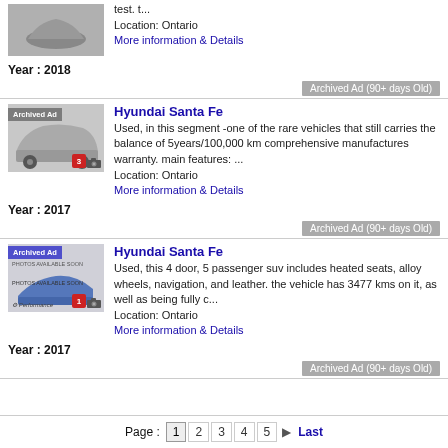test. t...
Location: Ontario
More information & Details
Year : 2018
Archived Ad (90+ days Old)
Hyundai Santa Fe
Used, in this segment -one of the rare vehicles that still carries the balance of 5years/100,000 km comprehensive manufactures warranty. main features: ...
Location: Ontario
More information & Details
Year : 2017
Archived Ad (90+ days Old)
Hyundai Santa Fe
Used, this 4 door, 5 passenger suv includes heated seats, alloy wheels, navigation, and leather. the vehicle has 3477 kms on it, as well as being fully c...
Location: Ontario
More information & Details
Year : 2017
Archived Ad (90+ days Old)
Page : 1 2 3 4 5 Last